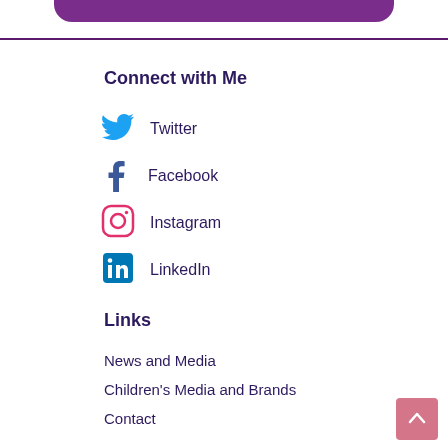[Figure (other): Purple rounded banner at top of page]
Connect with Me
Twitter
Facebook
Instagram
LinkedIn
Links
News and Media
Children's Media and Brands
Contact
Privacy
[Figure (other): Pink back-to-top arrow button in bottom right corner]